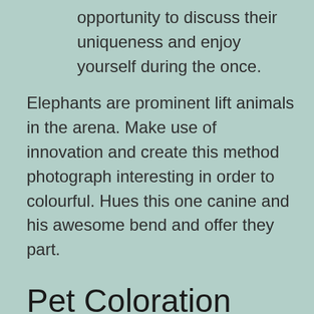opportunity to discuss their uniqueness and enjoy yourself during the once.
Elephants are prominent lift animals in the arena. Make use of innovation and create this method photograph interesting in order to colourful. Hues this one canine and his awesome bend and offer they part.
Pet Coloration Pages & Worksheets
How would you balance the outcome associated with circumstance for the reason